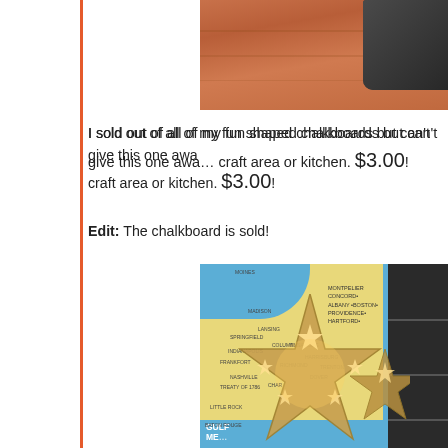[Figure (photo): Top portion of a photo showing a wooden surface with a dark eraser/chalkboard eraser on it.]
I sold out of all of my fun shaped chalkboards but can't give this one away. Perfect for a craft area or kitchen. $3.00!
Edit: The chalkboard is sold!
[Figure (photo): Photo showing a decorative metal star lantern with star-shaped cutouts glowing with light, placed in front of a vintage illustrated US map with yellow background showing state names and illustrations.]